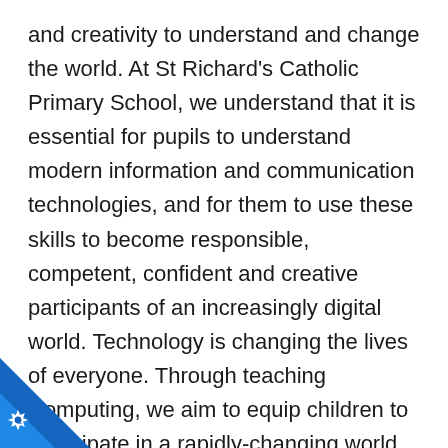and creativity to understand and change the world. At St Richard's Catholic Primary School, we understand that it is essential for pupils to understand modern information and communication technologies, and for them to use these skills to become responsible, competent, confident and creative participants of an increasingly digital world. Technology is changing the lives of everyone. Through teaching Computing, we aim to equip children to participate in a rapidly-changing world that is controlled and transformed by technology. It is our intention to enable the children to develop the skills necessary to be able to use information in a discriminating and effective way. Our Computing curriculum should be relevant to the pupils' lives and reflect the increase in computing, preparing them for a life where technology surrounds them.
[Figure (logo): Blue and white triangular badge in bottom-left corner with a star/cog icon and letter C]